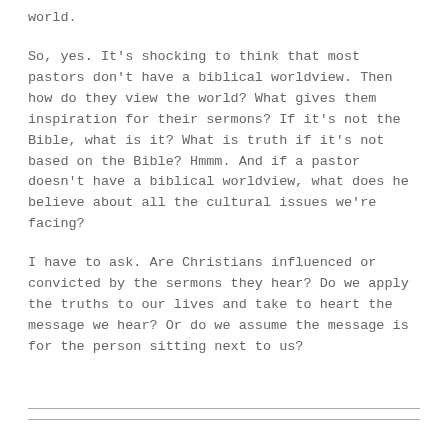world.
So, yes. It's shocking to think that most pastors don't have a biblical worldview. Then how do they view the world? What gives them inspiration for their sermons? If it's not the Bible, what is it? What is truth if it's not based on the Bible? Hmmm. And if a pastor doesn't have a biblical worldview, what does he believe about all the cultural issues we're facing?
I have to ask. Are Christians influenced or convicted by the sermons they hear? Do we apply the truths to our lives and take to heart the message we hear? Or do we assume the message is for the person sitting next to us?